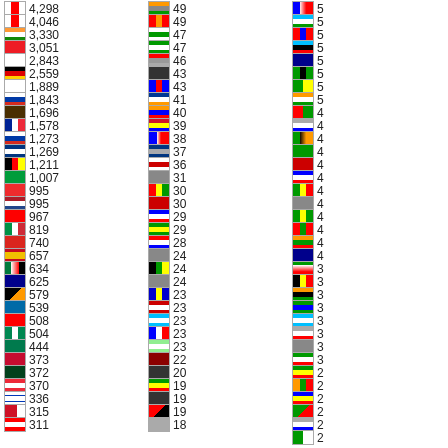| Flag | Count | Flag | Count | Flag | Count |
| --- | --- | --- | --- | --- | --- |
| 🇨🇭 | 4,298 |  | 49 |  | 5 |
| 🇨🇭 | 4,046 |  | 49 |  | 5 |
| 🇮🇳 | 3,330 |  | 47 |  | 5 |
| 🇨🇳 | 3,051 |  | 47 |  | 5 |
| 🇯🇵 | 2,843 |  | 46 |  | 5 |
| 🇩🇪 | 2,559 |  | 43 |  | 5 |
| 🇰🇷 | 1,889 |  | 43 |  | 5 |
|  | 1,843 |  | 41 |  | 5 |
|  | 1,696 |  | 40 |  | 4 |
| 🇫🇷 | 1,578 |  | 39 |  | 4 |
| 🇷🇺 | 1,273 |  | 38 |  | 4 |
|  | 1,269 |  | 37 |  | 4 |
| 🇧🇪 | 1,211 |  | 36 |  | 4 |
| 🇧🇷 | 1,007 |  | 31 |  | 4 |
| 🇳🇴 | 995 |  | 30 |  | 4 |
| 🇳🇱 | 995 |  | 30 |  | 4 |
| 🇹🇼 | 967 |  | 29 |  | 4 |
| 🇮🇹 | 819 |  | 29 |  | 4 |
| 🇻🇳 | 740 |  | 28 |  | 4 |
| 🇪🇸 | 657 |  | 24 |  | 4 |
| 🇰🇼 | 634 |  | 24 |  | 3 |
| 🇦🇺 | 625 |  | 24 |  | 3 |
|  | 579 |  | 23 |  | 3 |
| 🇸🇪 | 539 |  | 23 |  | 3 |
| 🇨🇭 | 508 |  | 23 |  | 3 |
| 🇳🇬 | 504 |  | 23 |  | 3 |
| 🇿🇦 | 444 |  | 23 |  | 3 |
| 🇩🇰 | 373 |  | 22 |  | 3 |
| 🇵🇰 | 372 |  | 20 |  | 2 |
| 🇦🇹 | 370 |  | 19 |  | 2 |
| 🇮🇱 | 336 |  | 19 |  | 2 |
| 🇧🇭 | 315 |  | 19 |  | 2 |
|  | 311 |  | 18 |  | 2 |